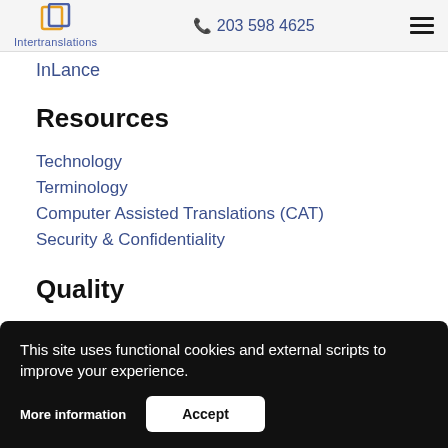Intertranslations | 203 598 4625
InLance
Resources
Technology
Terminology
Computer Assisted Translations (CAT)
Security & Confidentiality
Quality
This site uses functional cookies and external scripts to improve your experience.
More information
Accept